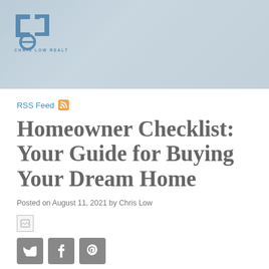[Figure (photo): Header image with a blurred interior home scene and Chris Low Realtor logo overlay in blue]
RSS Feed
Homeowner Checklist: Your Guide for Buying Your Dream Home
Posted on August 11, 2021 by Chris Low
[Figure (other): Broken image placeholder]
[Figure (infographic): Social media share buttons: Twitter, Facebook, Pinterest]